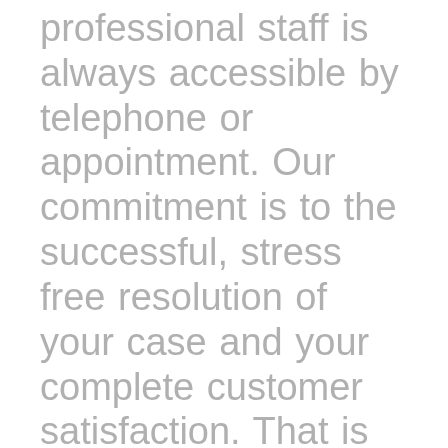professional staff is always accessible by telephone or appointment. Our commitment is to the successful, stress free resolution of your case and your complete customer satisfaction. That is why our office does not believe in voicemail programs or telephone routing systems you will always receive a live person when you call. We make sure that our clients are informed of the progress being made on their case and we encourage them to call whenever a question arises. Our motto is 'It's The Extras That Make the Difference' and that is the service...